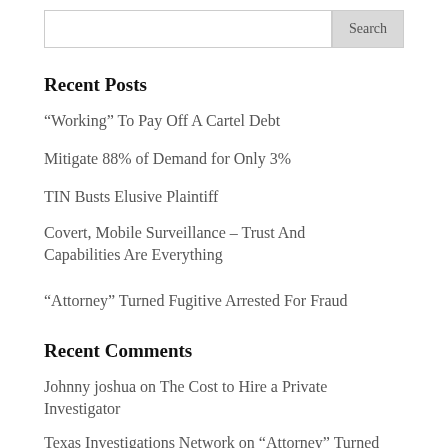Search
Recent Posts
“Working” To Pay Off A Cartel Debt
Mitigate 88% of Demand for Only 3%
TIN Busts Elusive Plaintiff
Covert, Mobile Surveillance – Trust And Capabilities Are Everything
“Attorney” Turned Fugitive Arrested For Fraud
Recent Comments
Johnny joshua on The Cost to Hire a Private Investigator
Texas Investigations Network on “Attorney” Turned